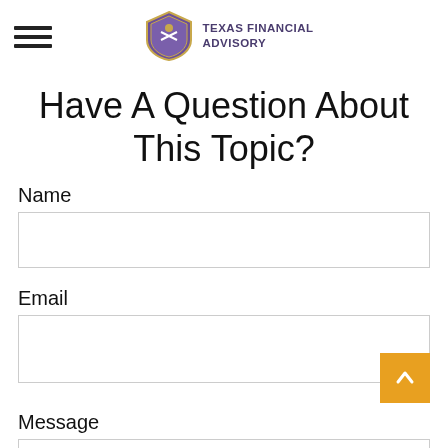Texas Financial Advisory
Have A Question About This Topic?
Name
Email
Message